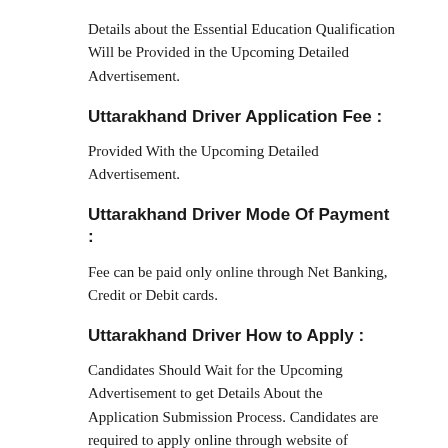Details about the Essential Education Qualification Will be Provided in the Upcoming Detailed Advertisement.
Uttarakhand Driver Application Fee :
Provided With the Upcoming Detailed Advertisement.
Uttarakhand Driver Mode Of Payment :
Fee can be paid only online through Net Banking, Credit or Debit cards.
Uttarakhand Driver How to Apply :
Candidates Should Wait for the Upcoming Advertisement to get Details About the Application Submission Process. Candidates are required to apply online through website of Uttarakhand Roadways only. No other means/mode of